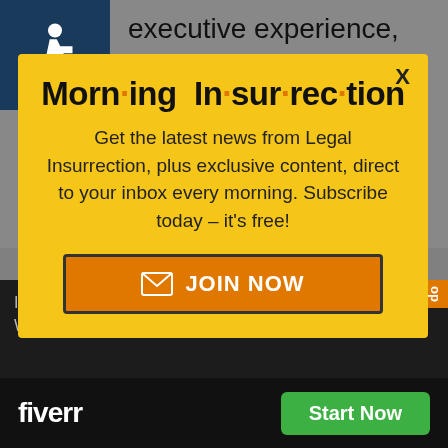[Figure (illustration): Wheelchair accessibility icon in white on dark blue background]
executive experience, nor does Rubio. Jindal? Well maybe, but I find the creationism in schools down there off-putting. Nope, if Walker ain't it, I'm
Morn·ing In·sur·rec·tion
Get the latest news from Legal Insurrection, plus exclusive content, direct to your inbox every morning. Subscribe today – it's free!
JOIN NOW
I'll never unde... and voters like you... No gett... Hillary or Warre...
[Figure (logo): Fiverr logo in white on black background with green Start Now button]